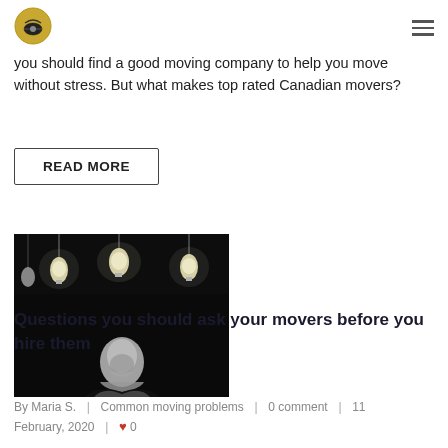[Logo] [Menu icon]
you should find a good moving company to help you move without stress. But what makes top rated Canadian movers?
READ MORE
[Figure (photo): Black and white photo of a man looking up at hanging light bulbs against a dark background]
Questions you should ask your movers before you hire them
By Maria S.  |  Common moving problems  |  0 comment  |  11 February, 2020  |  ♥ 0